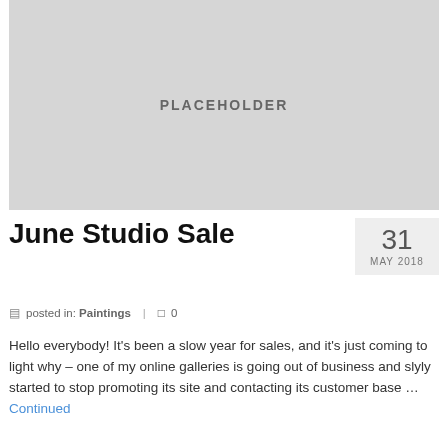[Figure (other): Gray placeholder image box with the text PLACEHOLDER centered inside]
June Studio Sale
31 MAY 2018
posted in: Paintings  |  0
Hello everybody! It's been a slow year for sales, and it's just coming to light why – one of my online galleries is going out of business and slyly started to stop promoting its site and contacting its customer base … Continued